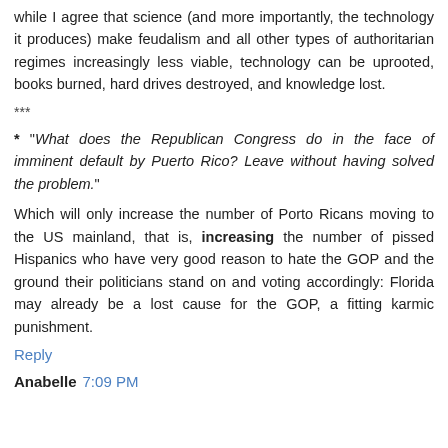while I agree that science (and more importantly, the technology it produces) make feudalism and all other types of authoritarian regimes increasingly less viable, technology can be uprooted, books burned, hard drives destroyed, and knowledge lost.
***
* "What does the Republican Congress do in the face of imminent default by Puerto Rico? Leave without having solved the problem."
Which will only increase the number of Porto Ricans moving to the US mainland, that is, increasing the number of pissed Hispanics who have very good reason to hate the GOP and the ground their politicians stand on and voting accordingly: Florida may already be a lost cause for the GOP, a fitting karmic punishment.
Reply
Anabelle 7:09 PM